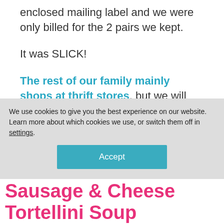enclosed mailing label and we were only billed for the 2 pairs we kept.
It was SLICK!
The rest of our family mainly shops at thrift stores, but we will definitely use Prime Wardrobe again whenever Dave needs more clothing.
We use cookies to give you the best experience on our website.
Learn more about which cookies we use, or switch them off in settings.
Accept
Sausage & Cheese Tortellini Soup